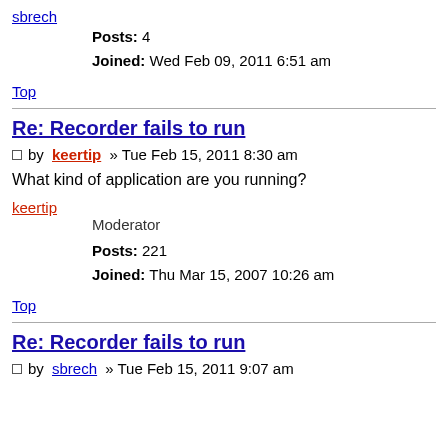sbrech
Posts: 4
Joined: Wed Feb 09, 2011 6:51 am
Top
Re: Recorder fails to run
by keertip » Tue Feb 15, 2011 8:30 am
What kind of application are you running?
keertip
Moderator
Posts: 221
Joined: Thu Mar 15, 2007 10:26 am
Top
Re: Recorder fails to run
by sbrech » Tue Feb 15, 2011 9:07 am